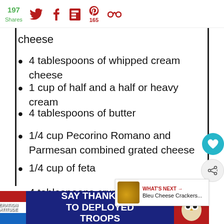197 Shares — social share bar with Twitter, Facebook, Flipboard, Pinterest (165), and another icon
cheese
4 tablespoons of whipped cream cheese
1 cup of half and a half or heavy cream
4 tablespoons of butter
1/4 cup Pecorino Romano and Parmesan combined grated cheese
1/4 cup of feta
4 tablespoons crumbled bleu ch...
1/4 teaspoons of each, granulated garlic powder, salt, white pepper, cayenne
SAY THANK YOU TO DEPLOYED TROOPS — Operation Gratitude advertisement